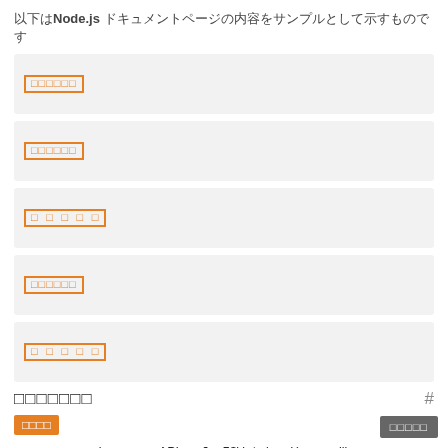以下はNode.js ドキュメントページの内容をサンプルとして示すものです
[badge1]
[badge2]
[badge3]
[badge4]
[badge5]
ファイルシステム
安定性: 2
このモジュールは promise ベースの APIです  fs.FSWatcher() はlibuv に依存しています そのため スレッドプールサイズには UV_THREADPOOL_SIZE が使われます
前へ